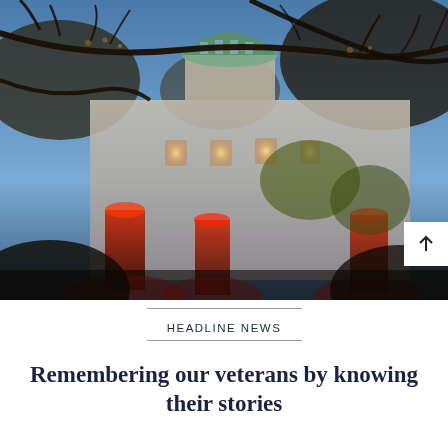[Figure (photo): Evening/dusk photograph of a historic stone building with a copper-green dome, illuminated by red uplighting at the base and warm yellow window lights, viewed through bare autumn tree branches against a blue twilight sky.]
HEADLINE NEWS
Remembering our veterans by knowing their stories